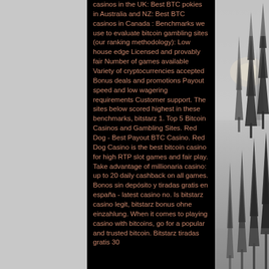casinos in the UK: Best BTC pokies in Australia and NZ: Best BTC casinos in Canada : Benchmarks we use to evaluate bitcoin gambling sites (our ranking methodology): Low house edge Licensed and provably fair Number of games available Variety of cryptocurrencies accepted Bonus deals and promotions Payout speed and low wagering requirements Customer support. The sites below scored highest in these benchmarks, bitstarz 1. Top 5 Bitcoin Casinos and Gambling Sites. Red Dog - Best Payout BTC Casino. Red Dog Casino is the best bitcoin casino for high RTP slot games and fair play. Take advantage of millionaria casino: up to 20 daily cashback on all games. Bonos sin depósito y tiradas gratis en españa - latest casino no. Is bitstarz casino legit, bitstarz bonus ohne einzahlung. When it comes to playing casino with bitcoins, go for a popular and trusted bitcoin. Bitstarz tiradas gratis 30
[Figure (photo): Misty forest scene with tall conifer trees partially visible through fog, black and white / grayscale, on the right side of the page]